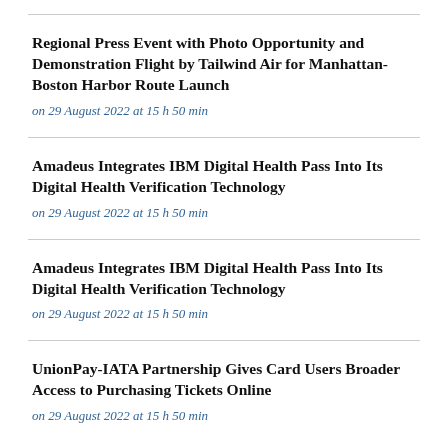Regional Press Event with Photo Opportunity and Demonstration Flight by Tailwind Air for Manhattan-Boston Harbor Route Launch
on 29 August 2022 at 15 h 50 min
Amadeus Integrates IBM Digital Health Pass Into Its Digital Health Verification Technology
on 29 August 2022 at 15 h 50 min
Amadeus Integrates IBM Digital Health Pass Into Its Digital Health Verification Technology
on 29 August 2022 at 15 h 50 min
UnionPay-IATA Partnership Gives Card Users Broader Access to Purchasing Tickets Online
on 29 August 2022 at 15 h 50 min